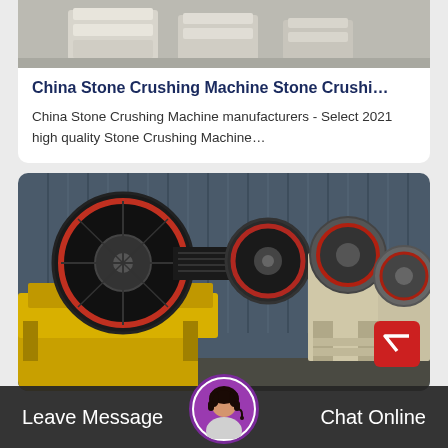[Figure (photo): Partial view of industrial pallets/equipment in warehouse, cropped at top of card]
China Stone Crushing Machine Stone Crushi…
China Stone Crushing Machine manufacturers - Select 2021 high quality Stone Crushing Machine…
[Figure (photo): Row of yellow jaw crusher stone crushing machines with black belt pulleys in front and beige machines in background, inside industrial building with corrugated metal walls]
Leave Message
Chat Online